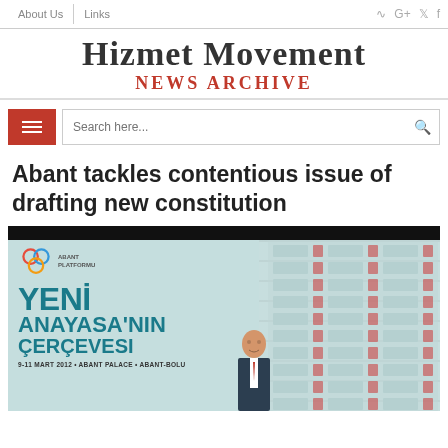About Us | Links
Hizmet Movement News Archive
Search here...
Abant tackles contentious issue of drafting new constitution
[Figure (photo): Conference banner reading 'Yeni Anayasa'nın Çerçevesi' (Framework of the New Constitution) with Abant Platform logo and dates 9-11 Mart 2012, Abant Palace, Abant-Bolu. A man in a suit stands in front of the banner.]